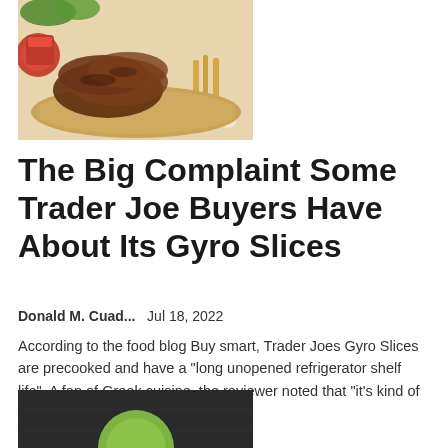[Figure (photo): Photo of gyro slices on flatbread with tomatoes, garlic, and fries on a light tan surface]
The Big Complaint Some Trader Joe Buyers Have About Its Gyro Slices
Donald M. Cuad...    Jul 18, 2022
According to the food blog Buy smart, Trader Joes Gyro Slices are precooked and have a "long unopened refrigerator shelf life". A fan of Greek cuisine, the reviewer noted that "it's kind of silly to compare fast cooking and...
[Figure (photo): Partial photo of a dark board/slate surface with a lime green circular object, partially cropped]